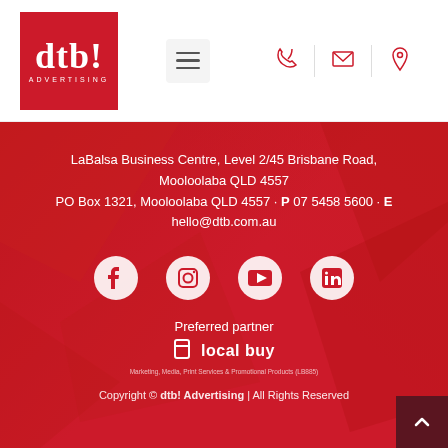[Figure (logo): dtb! Advertising logo — red square with white text 'dtb!' and 'ADVERTISING']
[Figure (other): Navigation hamburger menu icon and contact icons (phone, email, location)]
LaBalsa Business Centre, Level 2/45 Brisbane Road, Mooloolaba QLD 4557
PO Box 1321, Mooloolaba QLD 4557 · P 07 5458 5600 · E hello@dtb.com.au
[Figure (other): Social media icons: Facebook, Instagram, YouTube, LinkedIn]
Preferred partner
[Figure (logo): localbuy logo]
Marketing, Media, Print Services & Promotional Products (LB885)
Copyright © dtb! Advertising | All Rights Reserved